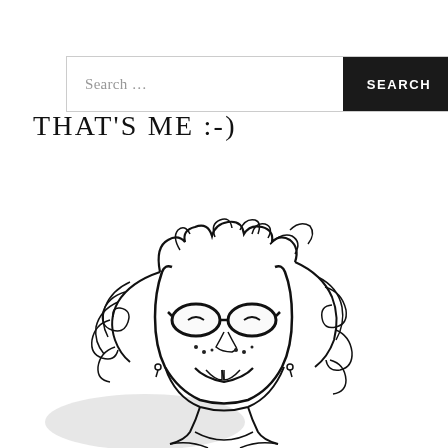[Figure (other): Search bar with text input field showing 'Search ...' placeholder and a dark 'SEARCH' button on the right]
THAT'S ME :-)
[Figure (illustration): A hand-drawn cartoon illustration of a smiling person with curly hair, round glasses, freckles, and a gap-toothed grin, drawn in black ink on white background]